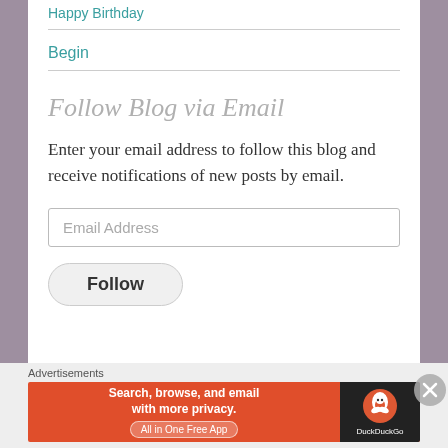Happy Birthday
Begin
Follow Blog via Email
Enter your email address to follow this blog and receive notifications of new posts by email.
Email Address
Follow
Advertisements
[Figure (infographic): DuckDuckGo advertisement banner: 'Search, browse, and email with more privacy. All in One Free App' with DuckDuckGo logo on dark background.]